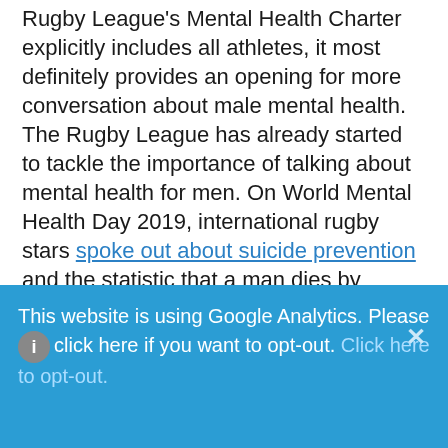Rugby League's Mental Health Charter explicitly includes all athletes, it most definitely provides an opening for more conversation about male mental health. The Rugby League has already started to tackle the importance of talking about mental health for men. On World Mental Health Day 2019, international rugby stars spoke out about suicide prevention and the statistic that a man dies by suicide every minute–80 men for every 80-minute game of the Rugby World Cup. It is hard to solve problems in the dark, and these conversations really do have the potential to serve as beacons for change.
This website is using Google Analytics. Please click here if you want to opt-out. Click here to opt-out.